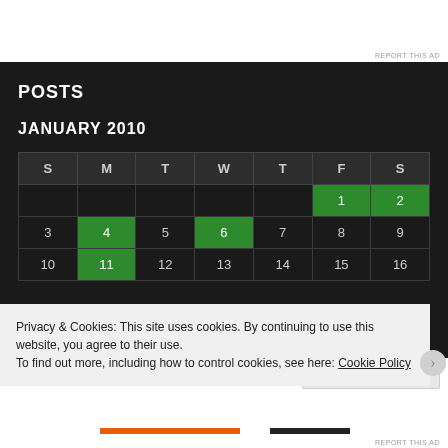REPORT THIS AD
POSTS
JANUARY 2010
| S | M | T | W | T | F | S |
| --- | --- | --- | --- | --- | --- | --- |
|  |  |  |  |  | 1 | 2 |
| 3 | 4 | 5 | 6 | 7 | 8 | 9 |
| 10 | 11 | 12 | 13 | 14 | 15 | 16 |
Privacy & Cookies: This site uses cookies. By continuing to use this website, you agree to their use.
To find out more, including how to control cookies, see here: Cookie Policy
Close and accept
REPORT THIS AD